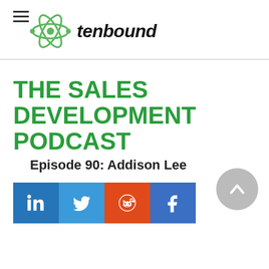tenbound
THE SALES DEVELOPMENT PODCAST
Episode 90: Addison Lee
[Figure (other): Social share buttons for LinkedIn, Twitter, Reddit, and Facebook]